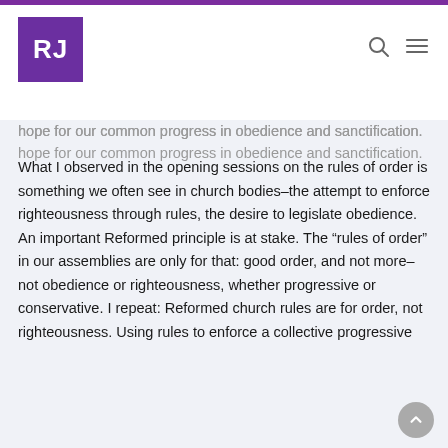RJ [logo]
hope for our common progress in obedience and sanctification.
What I observed in the opening sessions on the rules of order is something we often see in church bodies–the attempt to enforce righteousness through rules, the desire to legislate obedience. An important Reformed principle is at stake. The "rules of order" in our assemblies are only for that: good order, and not more–not obedience or righteousness, whether progressive or conservative. I repeat: Reformed church rules are for order, not righteousness. Using rules to enforce a collective progressive